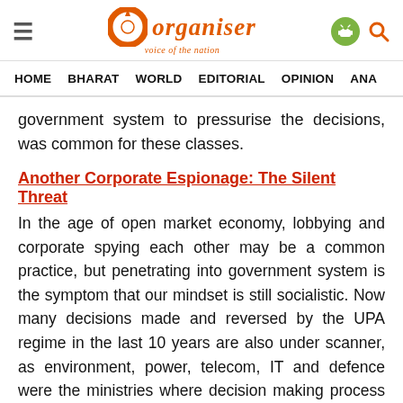Organiser — voice of the nation | HOME | BHARAT | WORLD | EDITORIAL | OPINION | ANA
government system to pressurise the decisions, was common for these classes.
Another Corporate Espionage: The Silent Threat
In the age of open market economy, lobbying and corporate spying each other may be a common practice, but penetrating into government system is the symptom that our mindset is still socialistic. Now many decisions made and reversed by the UPA regime in the last 10 years are also under scanner, as environment, power, telecom, IT and defence were the ministries where decision making process was dubious.